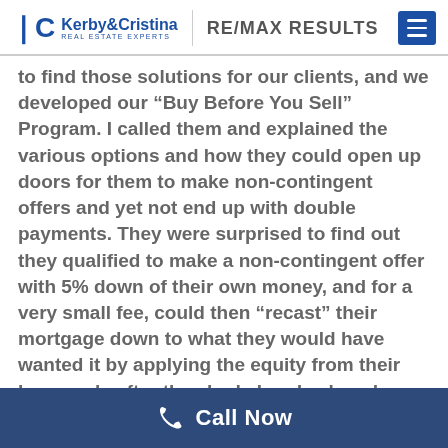Kerby & Cristina Real Estate Experts | RE/MAX RESULTS
to find those solutions for our clients, and we developed our “Buy Before You Sell” Program. I called them and explained the various options and how they could open up doors for them to make non-contingent offers and yet not end up with double payments. They were surprised to find out they qualified to make a non-contingent offer with 5% down of their own money, and for a very small fee, could then “recast” their mortgage down to what they would have wanted it by applying the equity from their home sale after they had already closed on their new home.
Suddenly, the world opened up for them because they now had the option to buy in this market! Marzel and
Call Now